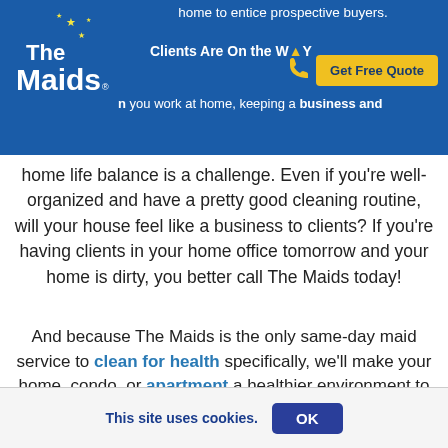home to entice prospective buyers.
[Figure (logo): The Maids logo - white text with blue background and yellow stars]
Clients Are On the Way
when you work at home, keeping a business and home life balance is a challenge. Even if you're well-organized and have a pretty good cleaning routine, will your house feel like a business to clients? If you're having clients in your home office tomorrow and your home is dirty, you better call The Maids today!
And because The Maids is the only same-day maid service to clean for health specifically, we'll make your home, condo, or apartment a healthier environment to boot. That means less dust, fewer germs and allergens, plus more sparkle and shine for a cleaner, healthier home that will make your guests take notice.
This site uses cookies.